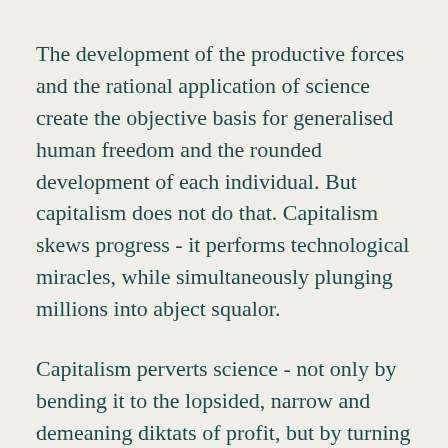The development of the productive forces and the rational application of science create the objective basis for generalised human freedom and the rounded development of each individual. But capitalism does not do that. Capitalism skews progress - it performs technological miracles, while simultaneously plunging millions into abject squalor.
Capitalism perverts science - not only by bending it to the lopsided, narrow and demeaning diktats of profit, but by turning it against humanity to the extent of threatening our very survival. The insights, ingenuity and resources of science have